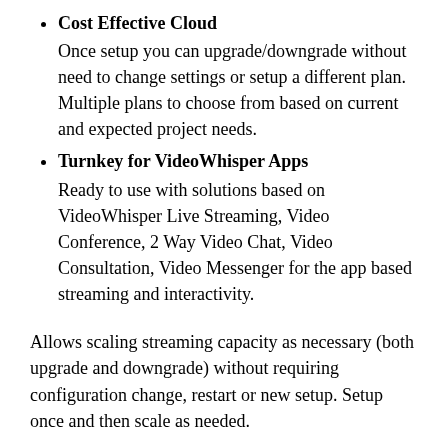Cost Effective Cloud
Once setup you can upgrade/downgrade without need to change settings or setup a different plan. Multiple plans to choose from based on current and expected project needs.
Turnkey for VideoWhisper Apps
Ready to use with solutions based on VideoWhisper Live Streaming, Video Conference, 2 Way Video Chat, Video Consultation, Video Messenger for the app based streaming and interactivity.
Allows scaling streaming capacity as necessary (both upgrade and downgrade) without requiring configuration change, restart or new setup. Setup once and then scale as needed.